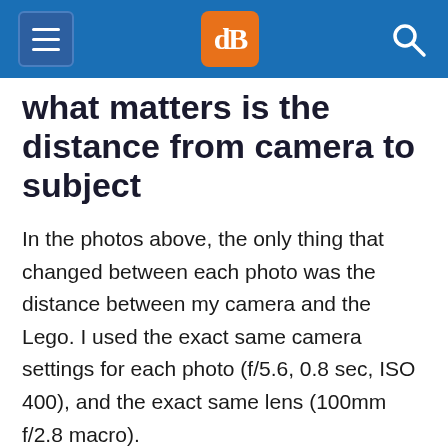dPS navigation header
what matters is the distance from camera to subject
In the photos above, the only thing that changed between each photo was the distance between my camera and the Lego. I used the exact same camera settings for each photo (f/5.6, 0.8 sec, ISO 400), and the exact same lens (100mm f/2.8 macro).
Normally, as you move farther away from your